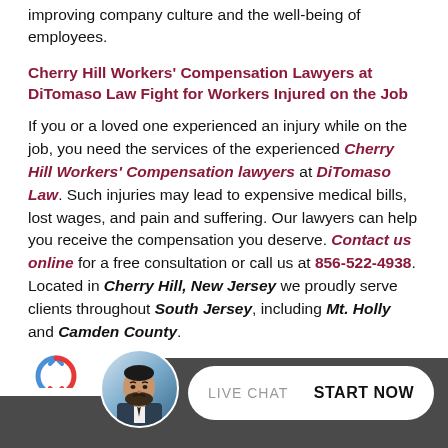improving company culture and the well-being of employees.
Cherry Hill Workers' Compensation Lawyers at DiTomaso Law Fight for Workers Injured on the Job
If you or a loved one experienced an injury while on the job, you need the services of the experienced Cherry Hill Workers' Compensation lawyers at DiTomaso Law. Such injuries may lead to expensive medical bills, lost wages, and pain and suffering. Our lawyers can help you receive the compensation you deserve. Contact us online for a free consultation or call us at 856-522-4938. Located in Cherry Hill, New Jersey we proudly serve clients throughout South Jersey, including Mt. Holly and Camden County.
[Figure (other): Live chat widget footer bar with reCAPTCHA logo, avatar photo of bearded man, and a white pill-shaped button with LIVE CHAT and START NOW text on dark gray background]